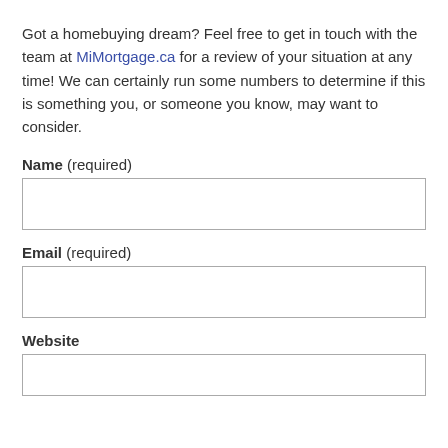Got a homebuying dream? Feel free to get in touch with the team at MiMortgage.ca for a review of your situation at any time! We can certainly run some numbers to determine if this is something you, or someone you know, may want to consider.
Name (required)
Email (required)
Website